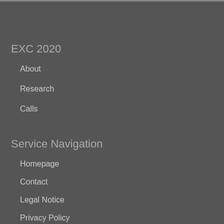EXC 2020
About
Research
Calls
Service Navigation
Homepage
Contact
Legal Notice
Privacy Policy
Accessibility Statement